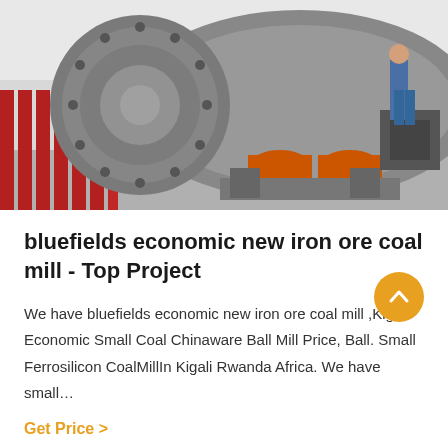[Figure (photo): Industrial ball mill machinery in a factory setting. Large cylindrical mill drum visible in foreground with orange support structures and a worker in blue overalls in the background.]
bluefields economic new iron ore coal mill - Top Project
We have bluefields economic new iron ore coal mill ,Kigali Economic Small Coal Chinaware Ball Mill Price, Ball. Small Ferrosilicon CoalMillIn Kigali Rwanda Africa. We have small…
Get Price  >